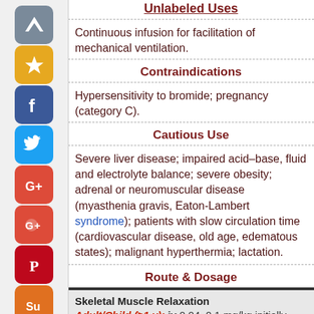Unlabeled Uses
Continuous infusion for facilitation of mechanical ventilation.
Contraindications
Hypersensitivity to bromide; pregnancy (category C).
Cautious Use
Severe liver disease; impaired acid–base, fluid and electrolyte balance; severe obesity; adrenal or neuromuscular disease (myasthenia gravis, Eaton-Lambert syndrome); patients with slow circulation time (cardiovascular disease, old age, edematous states); malignant hyperthermia; lactation.
Route & Dosage
Skeletal Muscle Relaxation
Adult/Child (≥1 y): iv 0.04–0.1 mg/kg initially, then after 25–40 min, 0.01–0.15 mg/kg q12–